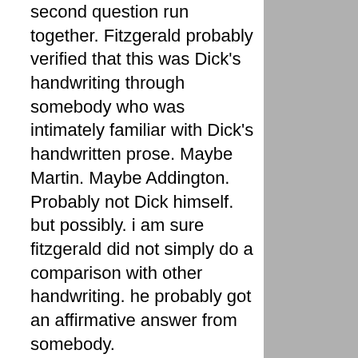second question run together. Fitzgerald probably verified that this was Dick's handwriting through somebody who was intimately familiar with Dick's handwritten prose. Maybe Martin. Maybe Addington. Probably not Dick himself. but possibly. i am sure fitzgerald did not simply do a comparison with other handwriting. he probably got an affirmative answer from somebody.

Fitzgerald is then